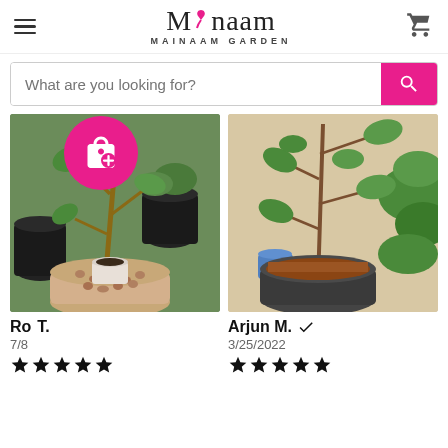Mainaam Garden - navigation header with logo, hamburger menu, and cart icon
What are you looking for?
[Figure (photo): Photo of potted plants in a garden setting, multiple black pots with green plants, and a white pot with clay pebbles in the foreground]
Ro T. 7/8
★★★★★
[Figure (photo): Photo of a plant with large green leaves in a dark pot against a beige wall, with a blue watering can in the background]
Arjun M. ✔ 3/25/2022
★★★★★